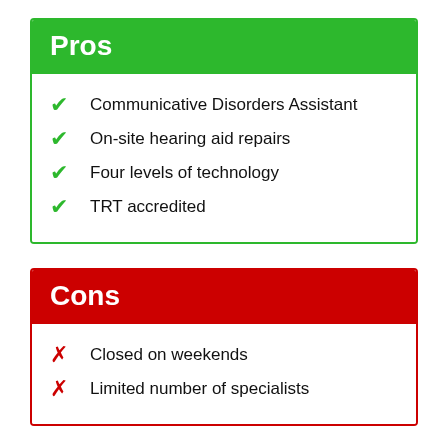Pros
Communicative Disorders Assistant
On-site hearing aid repairs
Four levels of technology
TRT accredited
Cons
Closed on weekends
Limited number of specialists